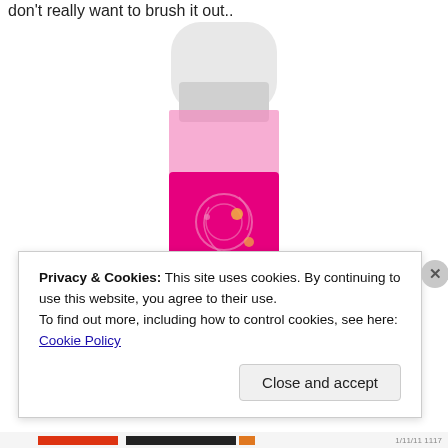don't really want to brush it out..
[Figure (photo): VO5 pink hair product spray can with decorative swirl design on label]
Privacy & Cookies: This site uses cookies. By continuing to use this website, you agree to their use.
To find out more, including how to control cookies, see here: Cookie Policy
Close and accept